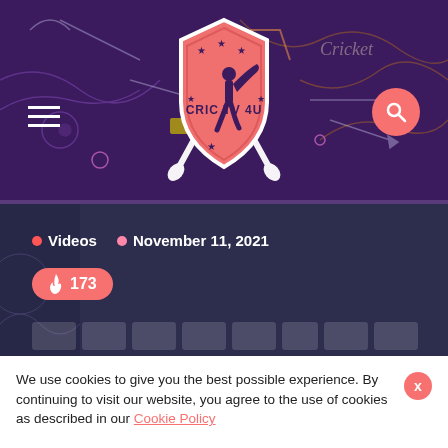[Figure (logo): CRIC TV 4U logo — a pink/salmon shield with a cricket batsman silhouette, crossed cricket bats below, stars around the shield, on a dark purple background with neon decorative lines]
Videos • November 11, 2021
🔥 173
□□□□□□□ □□□□□ □□□□□□ □□□□□ Dangerous | #CricTv4u
We use cookies to give you the best possible experience. By continuing to visit our website, you agree to the use of cookies as described in our Cookie Policy